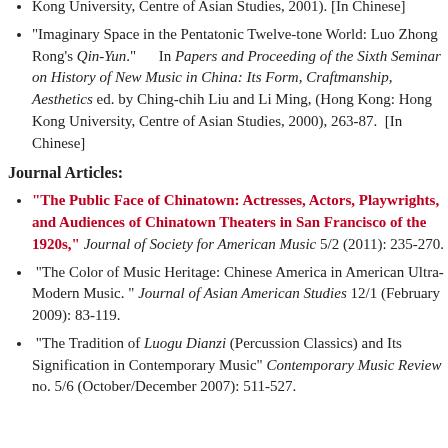Kong University, Centre of Asian Studies, 2001). [In Chinese]
"Imaginary Space in the Pentatonic Twelve-tone World: Luo Zhong Rong's Qin-Yun." In Papers and Proceeding of the Sixth Seminar on History of New Music in China: Its Form, Craftmanship, Aesthetics ed. by Ching-chih Liu and Li Ming, (Hong Kong: Hong Kong University, Centre of Asian Studies, 2000), 263-87. [In Chinese]
Journal Articles:
“The Public Face of Chinatown: Actresses, Actors, Playwrights, and Audiences of Chinatown Theaters in San Francisco of the 1920s,” Journal of Society for American Music 5/2 (2011): 235-270.
“The Color of Music Heritage: Chinese America in American Ultra-Modern Music. ” Journal of Asian American Studies 12/1 (February 2009): 83-119.
“The Tradition of Luogu Dianzi (Percussion Classics) and Its Signification in Contemporary Music” Contemporary Music Review no. 5/6 (October/December 2007): 511-527.